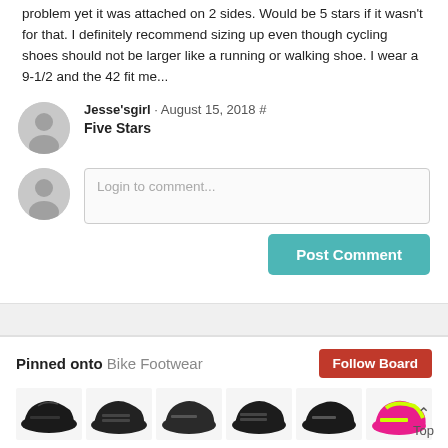problem yet it was attached on 2 sides. Would be 5 stars if it wasn't for that. I definitely recommend sizing up even though cycling shoes should not be larger like a running or walking shoe. I wear a 9-1/2 and the 42 fit me...
Jesse'sgirl · August 15, 2018 #
Five Stars
Login to comment...
Post Comment
Pinned onto Bike Footwear
Follow Board
[Figure (photo): Row of cycling shoes images pinned onto Bike Footwear board]
Top